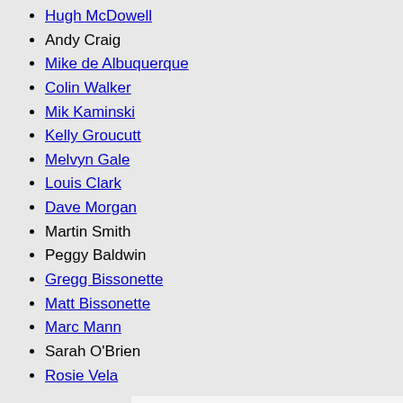Hugh McDowell
Andy Craig
Mike de Albuquerque
Colin Walker
Mik Kaminski
Kelly Groucutt
Melvyn Gale
Louis Clark
Dave Morgan
Martin Smith
Peggy Baldwin
Gregg Bissonette
Matt Bissonette
Marc Mann
Sarah O'Brien
Rosie Vela
Studio albums
The Electric Light Orchestra (No Answer)
ELO 2 (Electric Light Orchestra II)
On the Third Day
Eldorado
Face the Music
A New World Record
Out of the Blue
Discovery